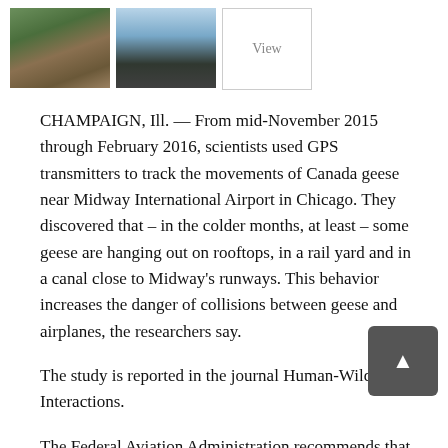[Figure (photo): Two people sitting outdoors, appears to be researchers or wildlife biologists]
[Figure (photo): Birds (geese) on water near a shoreline or waterway]
[Figure (other): View button box with border]
CHAMPAIGN, Ill. — From mid-November 2015 through February 2016, scientists used GPS transmitters to track the movements of Canada geese near Midway International Airport in Chicago. They discovered that – in the colder months, at least – some geese are hanging out on rooftops, in a rail yard and in a canal close to Midway's runways. This behavior increases the danger of collisions between geese and airplanes, the researchers say.
The study is reported in the journal Human-Wildlife Interactions.
The Federal Aviation Administration recommends that – depending on the type of aircraft served – airports